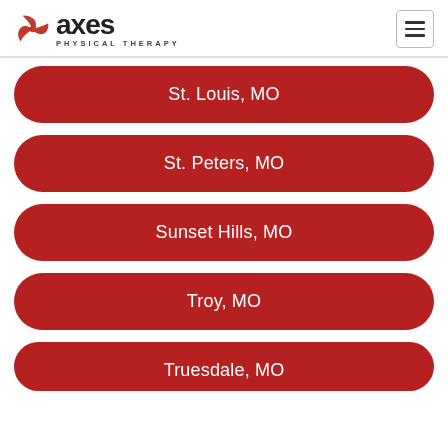[Figure (logo): Axes Physical Therapy logo with red pinwheel icon and bold 'axes' text, subtitle 'PHYSICAL THERAPY']
St. Louis, MO
St. Peters, MO
Sunset Hills, MO
Troy, MO
Truesdale, MO (partially visible)